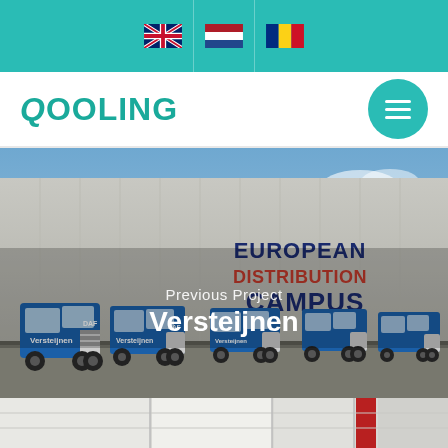[Figure (screenshot): Language selector bar with UK flag, Netherlands flag, and Romania flag icons on teal/turquoise background]
[Figure (logo): Qooling company logo in teal color with hamburger menu button]
[Figure (photo): Photo of a large warehouse/distribution center with multiple blue Versteijnen DAF trucks parked in front. Large text on building reads EUROPEAN DISTRIBUTION CAMPUS. Overlay text says Previous Project Versteijnen.]
Previous Project
Versteijnen
[Figure (photo): Bottom strip showing partial interior photo preview]